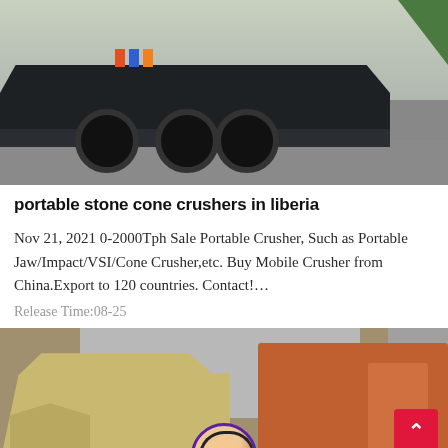[Figure (photo): Photo of a large truck with a dark dumper body on a paved surface, colored bars visible on the side, green foliage in top right corner]
portable stone cone crushers in liberia
Nov 21, 2021 0-2000Tph Sale Portable Crusher, Such as Portable Jaw/Impact/VSI/Cone Crusher,etc. Buy Mobile Crusher from China.Export to 120 countries. Contact!…
Release Time:08-25
[Figure (photo): Photo of industrial stone crushing machinery — a tan/yellow crusher on the left and an orange-red crusher on the right, with a building in the background]